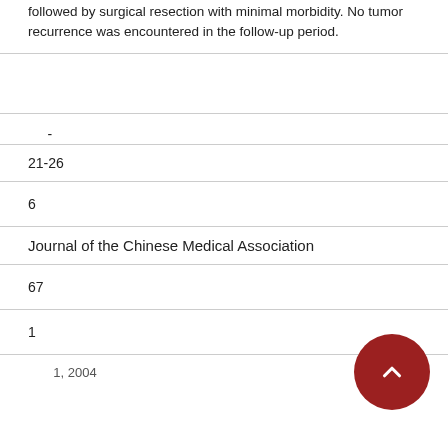followed by surgical resection with minimal morbidity. No tumor recurrence was encountered in the follow-up period.
-
21-26
6
Journal of the Chinese Medical Association
67
1
1, 2004